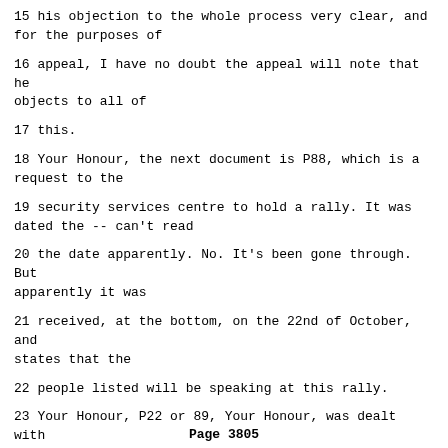15 his objection to the whole process very clear, and for the purposes of
16 appeal, I have no doubt the appeal will note that he objects to all of
17 this.
18 Your Honour, the next document is P88, which is a request to the
19 security services centre to hold a rally. It was dated the -- can't read
20 the date apparently. No. It's been gone through. But apparently it was
21 received, at the bottom, on the 22nd of October, and states that the
22 people listed will be speaking at this rally.
23 Your Honour, P22 or 89, Your Honour, was dealt with by, again,
24 Dr. Donia when he gave his evidence, and is a telex.
25 Then the next document, P90, is an official statement of the
Page 3805